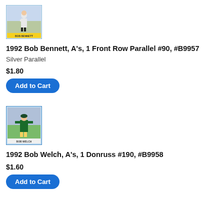[Figure (photo): Baseball card image of Bob Bennett, pitcher, in white uniform, with yellow name banner at bottom reading BOB BENNETT]
1992 Bob Bennett, A's, 1 Front Row Parallel #90, #B9957
Silver Parallel
$1.80
Add to Cart
[Figure (photo): Baseball card image of Bob Welch, Oakland A's pitcher, in green and gold uniform, with name banner at bottom reading BOB WELCH]
1992 Bob Welch, A's, 1 Donruss #190, #B9958
$1.60
Add to Cart